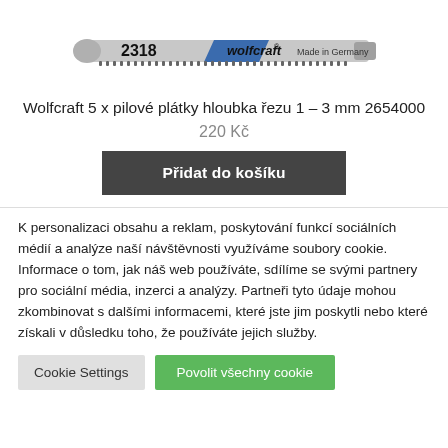[Figure (photo): Photo of a Wolfcraft jigsaw blade model 2318, silver with blue accent, Made in Germany label on right side.]
Wolfcraft 5 x pilové plátky hloubka řezu 1 – 3 mm 2654000
220 Kč
Přidat do košíku
K personalizaci obsahu a reklam, poskytování funkcí sociálních médií a analýze naší návštěvnosti využíváme soubory cookie. Informace o tom, jak náš web používáte, sdílíme se svými partnery pro sociální média, inzerci a analýzy. Partneři tyto údaje mohou zkombinovat s dalšími informacemi, které jste jim poskytli nebo které získali v důsledku toho, že používáte jejich služby.
Cookie Settings
Povolit všechny cookie